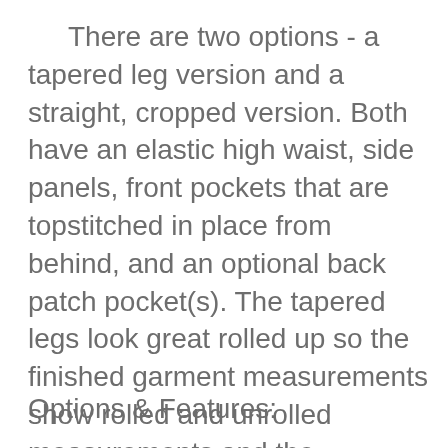There are two options - a tapered leg version and a straight, cropped version. Both have an elastic high waist, side panels, front pockets that are topstitched in place from behind, and an optional back patch pocket(s). The tapered legs look great rolled up so the finished garment measurements show rolled and unrolled measurements and the instructions include options for French and flat-fell leg seams.
Options & Features: